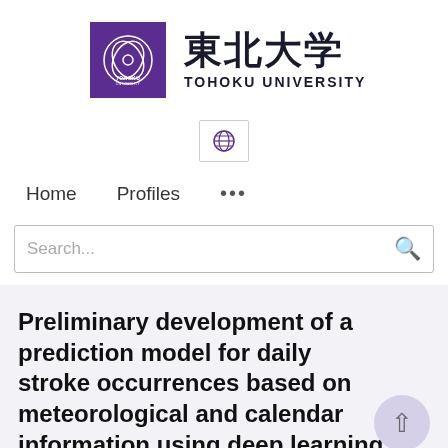[Figure (logo): Tohoku University logo: purple square with circular emblem, Japanese text 東北大学 and TOHOKU UNIVERSITY]
[Figure (logo): Globe/language selection icon button]
Home   Profiles   ...
Search...
Preliminary development of a prediction model for daily stroke occurrences based on meteorological and calendar information using deep learning